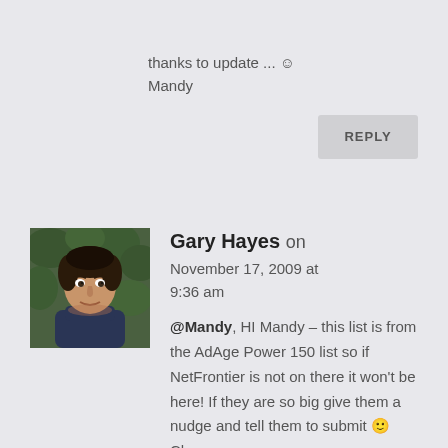thanks to update ... ☺
Mandy
REPLY
[Figure (photo): Portrait photo of Gary Hayes, a man with dark hair wearing a dark shirt, photographed outdoors with green foliage in the background]
Gary Hayes on November 17, 2009 at 9:36 am
@Mandy, HI Mandy – this list is from the AdAge Power 150 list so if NetFrontier is not on there it won't be here! If they are so big give them a nudge and tell them to submit 🙂 Cheers